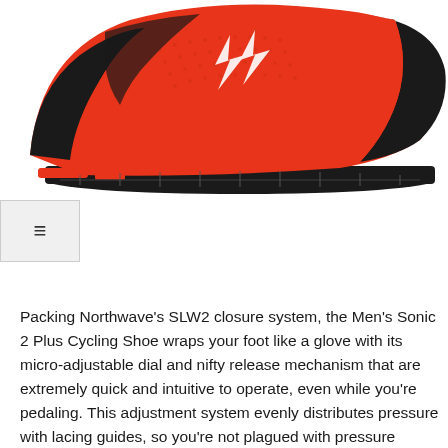[Figure (photo): A red and black Northwave Men's Sonic 2 Plus Cycling Shoe shown from the side, with white lightning bolt logo on the upper, mesh panels, and cleated sole, photographed from the side/top angle on a white background.]
≡
Packing Northwave's SLW2 closure system, the Men's Sonic 2 Plus Cycling Shoe wraps your foot like a glove with its micro-adjustable dial and nifty release mechanism that are extremely quick and intuitive to operate, even while you're pedaling. This adjustment system evenly distributes pressure with lacing guides, so you're not plagued with pressure points that make your feet scream in pain. Not only does it allow for precise tightening inputs like other dials on the market, but it features a handy release tab that opens the entire shoe in one lifting motion and loosens it in tiny increments with the